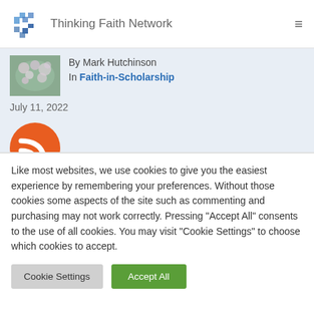Thinking Faith Network
By Mark Hutchinson
In Faith-in-Scholarship
July 11, 2022
[Figure (other): Orange RSS feed icon, partially visible at bottom of light blue article meta bar]
Like most websites, we use cookies to give you the easiest experience by remembering your preferences. Without those cookies some aspects of the site such as commenting and purchasing may not work correctly. Pressing "Accept All" consents to the use of all cookies. You may visit "Cookie Settings" to choose which cookies to accept.
Cookie Settings   Accept All